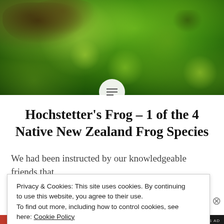[Figure (photo): Close-up photograph of bright green moss and vegetation covering rocks in a natural forest setting, with dark rocky surfaces visible underneath.]
Hochstetter's Frog – 1 of the 4 Native New Zealand Frog Species
We had been instructed by our knowledgeable friends that
Privacy & Cookies: This site uses cookies. By continuing to use this website, you agree to their use.
To find out more, including how to control cookies, see here: Cookie Policy
Close and accept